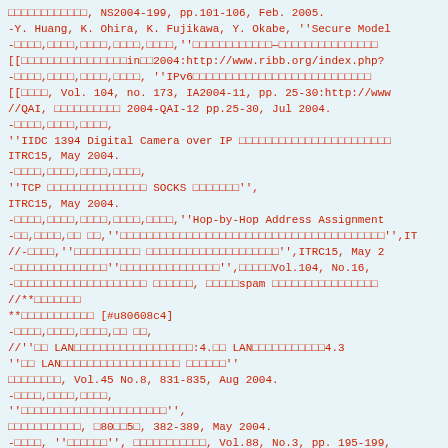□□□□□□□□□□□□, NS2004-199, pp.101-106, Feb. 2005.
-Y. Huang, K. Ohira, K. Fujikawa, Y. Okabe, ''Secure Model
-□□□□,□□□□,□□□□,□□□□,□□□□,''□□□□□□□□□□□□—□□□□□□□□□□□□□□□
[[□□□□□□□□□□□□□□□□in□□2004:http://www.ribb.org/index.php?
-□□□□,□□□□,□□□□,□□□□, ''IPv6□□□□□□□□□□□□□□□□□□□□□□□□□□□
[[□□□□, Vol. 104, no. 173, IA2004-11, pp. 25-30:http://www
//QAI, □□□□□□□□□□ 2004-QAI-12 pp.25-30, Jul 2004.
-□□□□,□□□□,□□□□,
''IIDC 1394 Digital Camera over IP □□□□□□□□□□□□□□□□□□□□□□□
ITRC15, May 2004.
-□□□□,□□□□,□□□□,□□□□,
''TCP □□□□□□□□□□□□□□□ SOCKS □□□□□□□'',
ITRC15, May 2004.
-□□□□,□□□□,□□□□,□□□□,□□□□,''Hop-by-Hop Address Assignment
-□□,□□□□,□□ □□,''□□□□□□□□□□□□□□□□□□□□□□□□□□□□□□□□□□□□□□□□'',IT
//-□□□□,''□□□□□□□□□□ □□□□□□□□□□□□□□□□□□□□'',ITRC15, May 2
-□□□□□□□□□□□□□□''□□□□□□□□□□□□□□□'',□□□□□Vol.104, No.16,
-□□□□□□□□□□□□□□□□□□□□ □□□□□□, □□□□□spam □□□□□□□□□□□□□□□□
//**□□□□□□□
**□□□□□□□□□□□ [#u80608c4]
-□□□□,□□□□,□□□□,□□ □□,
//''□□ LAN□□□□□□□□□□□□□□□□□□:4.□□ LAN□□□□□□□□□□□4.3
''□□ LAN□□□□□□□□□□□□□□□□□□ □□□□□□''
□□□□□□□□, Vol.45 No.8, 831-835, Aug 2004.
-□□□□,□□□□,□□□□,
''□□□□□□□□□□□□□□□□□□□□□□'',
□□□□□□□□□□□, □80□□5□, 382-389, May 2004.
-□□□□, ''□□□□□□'', □□□□□□□□□□□, Vol.88, No.3, pp. 195-199,
//**□□□□□□□
●●●●□□ [#u□□□□□□]